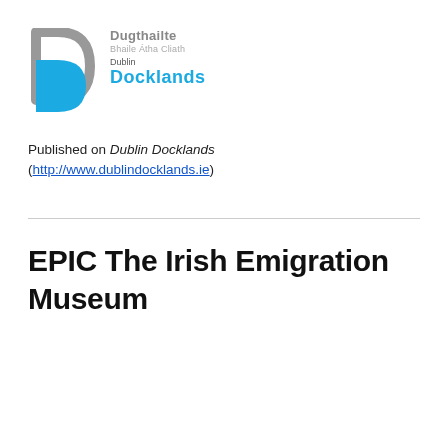[Figure (logo): Dublin Docklands logo with D-shaped icon in grey and blue, with text 'Dugthailte Bhaile Átha Cliath' in grey and 'Dublin Docklands' in blue]
Published on Dublin Docklands (http://www.dublindocklands.ie)
EPIC The Irish Emigration Museum